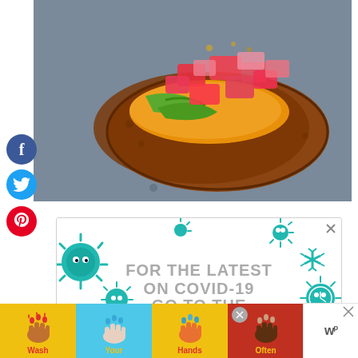[Figure (photo): A baked sweet potato split open and topped with colorful fillings including tomatoes, green peppers, and other ingredients, on a baking sheet.]
[Figure (infographic): COVID-19 information advertisement with teal/green germ illustrations and text reading FOR THE LATEST ON COVID-19 GO TO THE...]
[Figure (infographic): Bottom advertisement banner with hand washing icons and colorful segments. Text reads Wash Your Hands Often with emoji-style hand illustrations in yellow, blue, yellow, and red segments.]